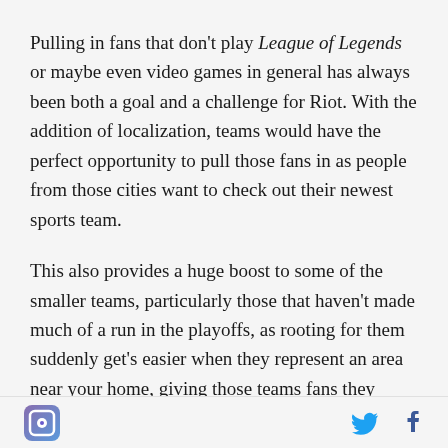Pulling in fans that don't play League of Legends or maybe even video games in general has always been both a goal and a challenge for Riot. With the addition of localization, teams would have the perfect opportunity to pull those fans in as people from those cities want to check out their newest sports team.
This also provides a huge boost to some of the smaller teams, particularly those that haven't made much of a run in the playoffs, as rooting for them suddenly get's easier when they represent an area near your home, giving those teams fans they might have never had before